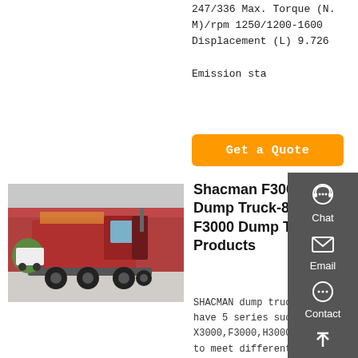247/336 Max. Torque (N.M)/rpm 1250/1200-1600 Displacement (L) 9.726 Emission sta
Get a Quote
[Figure (photo): Red Shacman F3000 dump truck/tractor unit parked in a yard, rear-three-quarter view]
Shacman F3000 Dump Truck-8X F3000 Dump Truck-Products
SHACMAN dump trucks have 5 series such as X3000,F3000,H3000,F2000,L to meet different